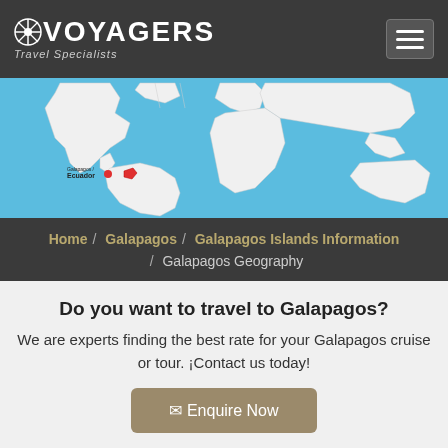VOYAGERS Travel Specialists
[Figure (map): World map with blue ocean background, continents shown in white/light grey. Ecuador and Galapagos Islands are highlighted in red on the west coast of South America, with a label reading 'Galapagos / Ecuador'.]
Home / Galapagos / Galapagos Islands Information / Galapagos Geography
Do you want to travel to Galapagos?
We are experts finding the best rate for your Galapagos cruise or tour. ¡Contact us today!
✉ Enquire Now
Galapagos Islands Geography